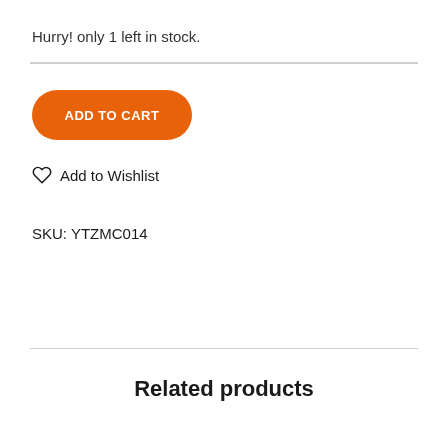Hurry! only 1 left in stock.
ADD TO CART
♡  Add to Wishlist
SKU: YTZMC014
Related products